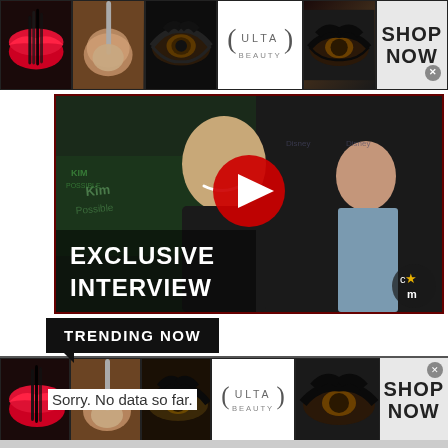[Figure (screenshot): Top advertising banner for Ulta Beauty with makeup imagery (lips, brush, eye, logo) and 'SHOP NOW' call to action]
[Figure (screenshot): YouTube video thumbnail for an exclusive interview, set at Kim Possible premiere, with play button overlay and text 'EXCLUSIVE INTERVIEW']
TRENDING NOW
Sorry. No data so far.
[Figure (screenshot): Bottom advertising banner for Ulta Beauty with makeup imagery (lips, brush, eye, logo) and 'SHOP NOW' call to action with close button]